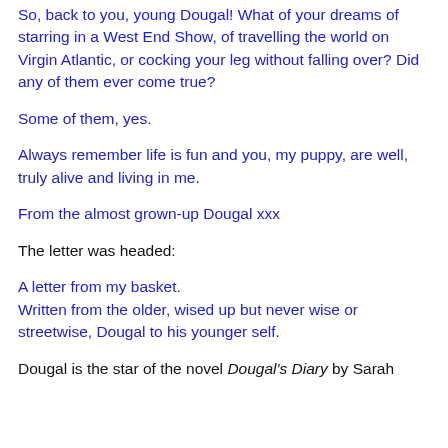So, back to you, young Dougal! What of your dreams of starring in a West End Show, of travelling the world on Virgin Atlantic, or cocking your leg without falling over? Did any of them ever come true?
Some of them, yes.
Always remember life is fun and you, my puppy, are well, truly alive and living in me.
From the almost grown-up Dougal xxx
The letter was headed:
A letter from my basket.
Written from the older, wised up but never wise or streetwise, Dougal to his younger self.
Dougal is the star of the novel Dougal's Diary by Sarah